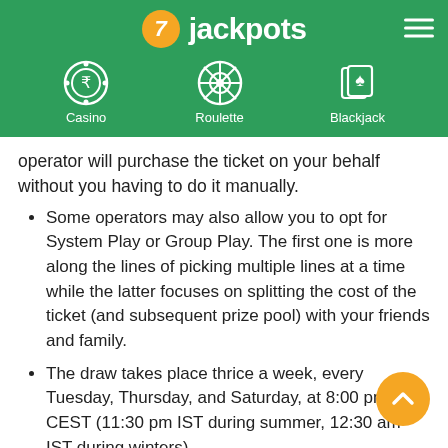7jackpots — Casino, Roulette, Blackjack navigation
operator will purchase the ticket on your behalf without you having to do it manually.
Some operators may also allow you to opt for System Play or Group Play. The first one is more along the lines of picking multiple lines at a time while the latter focuses on splitting the cost of the ticket (and subsequent prize pool) with your friends and family.
The draw takes place thrice a week, every Tuesday, Thursday, and Saturday, at 8:00 pm CEST (11:30 pm IST during summer, 12:30 am IST during winters).
The SuperEnalotto ticket sales close an hour